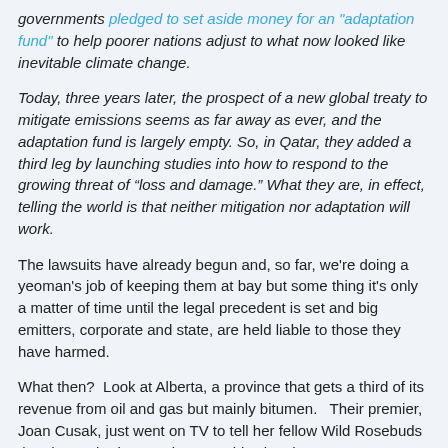governments pledged to set aside money for an "adaptation fund" to help poorer nations adjust to what now looked like inevitable climate change.
Today, three years later, the prospect of a new global treaty to mitigate emissions seems as far away as ever, and the adaptation fund is largely empty. So, in Qatar, they added a third leg by launching studies into how to respond to the growing threat of “loss and damage.” What they are, in effect, telling the world is that neither mitigation nor adaptation will work.
The lawsuits have already begun and, so far, we're doing a yeoman's job of keeping them at bay but some thing it's only a matter of time until the legal precedent is set and big emitters, corporate and state, are held liable to those they have harmed.
What then?  Look at Alberta, a province that gets a third of its revenue from oil and gas but mainly bitumen.   Their premier, Joan Cusak, just went on TV to tell her fellow Wild Rosebuds that they're broke - again.  It couldn't be clearer.